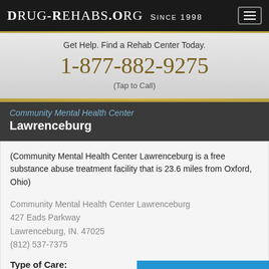DRUG-REHABS.ORG SINCE 1998
Get Help. Find a Rehab Center Today.
1-877-882-9275
(Tap to Call)
Community Mental Health Center Lawrenceburg
(Community Mental Health Center Lawrenceburg is a free substance abuse treatment facility that is 23.6 miles from Oxford, Ohio)
Community Mental Health Center Lawrenceburg
427 Eads Parkway
Lawrenceburg, IN. 47025
(812) 537-7375
Type of Care:
Drug and Alcohol Re...
Chat now